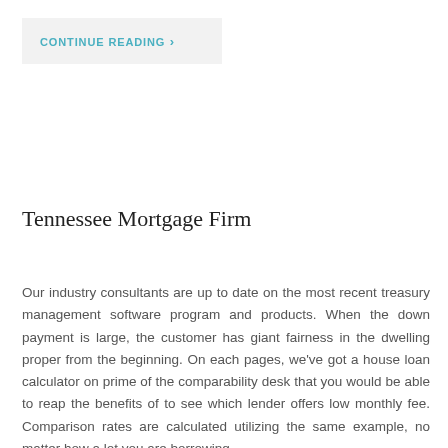CONTINUE READING ›
Tennessee Mortgage Firm
Our industry consultants are up to date on the most recent treasury management software program and products. When the down payment is large, the customer has giant fairness in the dwelling proper from the beginning. On each pages, we've got a house loan calculator on prime of the comparability desk that you would be able to reap the benefits of to see which lender offers low monthly fee. Comparison rates are calculated utilizing the same example, no matter how a lot you are borrowing.